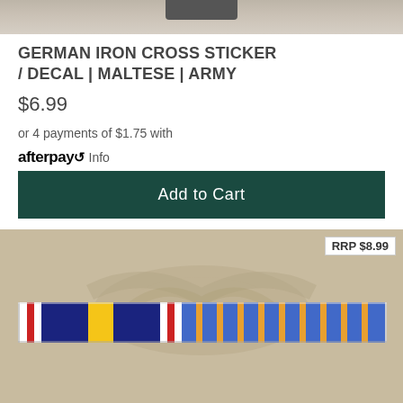[Figure (photo): Top portion of a product image (cropped), showing a tan/beige background]
GERMAN IRON CROSS STICKER / DECAL | MALTESE | ARMY
$6.99
or 4 payments of $1.75 with afterpay Info
Add to Cart
RRP $8.99
[Figure (photo): Product image showing a military ribbon bar with multiple colored stripes including red, white, navy blue, yellow, and orange/blue alternating stripes on a sandy/tan background]